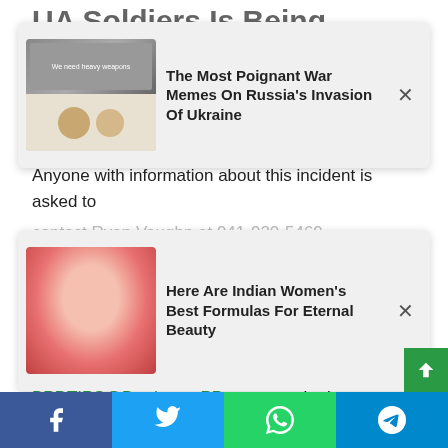[Figure (screenshot): Partially visible background image of news article headline 'UA Soldiers Is Being Called Their Guardian']
[Figure (screenshot): Ad overlay card: 'The Most Poignant War Memes On Russia's Invasion Of Ukraine' with thumbnail showing dog meme images]
Anyone with information about this incident is asked to
[Figure (screenshot): Ad overlay card: 'Here Are Indian Women's Best Formulas For Eternal Beauty' with pink flower thumbnail]
BPDTIPS@BradentonPD.com or submit anonymously by calling Crime Stoppers at 866-634-8477 (TIPS) or submitting anonymous tips online at www.manateecrimestoppers.com.
Payment procedures Tampafp.com because the Politics, Local news about the Tampa . area, Sports, and Country title. Support the press by Click here for
Facebook | Twitter | WhatsApp | Telegram